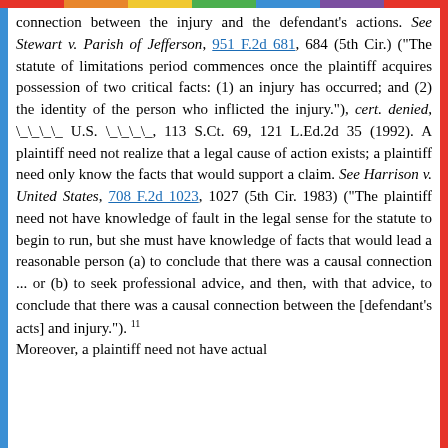connection between the injury and the defendant's actions. See Stewart v. Parish of Jefferson, 951 F.2d 681, 684 (5th Cir.) ("The statute of limitations period commences once the plaintiff acquires possession of two critical facts: (1) an injury has occurred; and (2) the identity of the person who inflicted the injury."), cert. denied, ___ U.S. ___, 113 S.Ct. 69, 121 L.Ed.2d 35 (1992). A plaintiff need not realize that a legal cause of action exists; a plaintiff need only know the facts that would support a claim. See Harrison v. United States, 708 F.2d 1023, 1027 (5th Cir. 1983) ("The plaintiff need not have knowledge of fault in the legal sense for the statute to begin to run, but she must have knowledge of facts that would lead a reasonable person (a) to conclude that there was a causal connection ... or (b) to seek professional advice, and then, with that advice, to conclude that there was a causal connection between the [defendant's acts] and injury."). 11 Moreover, a plaintiff need not have actual